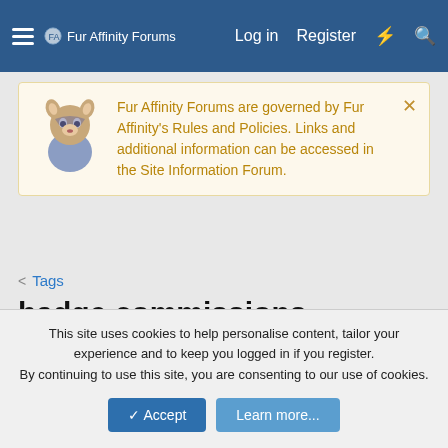Fur Affinity Forums  Log in  Register
Fur Affinity Forums are governed by Fur Affinity's Rules and Policies. Links and additional information can be accessed in the Site Information Forum.
< Tags
badge commissions
This site uses cookies to help personalise content, tailor your experience and to keep you logged in if you register.
By continuing to use this site, you are consenting to our use of cookies.